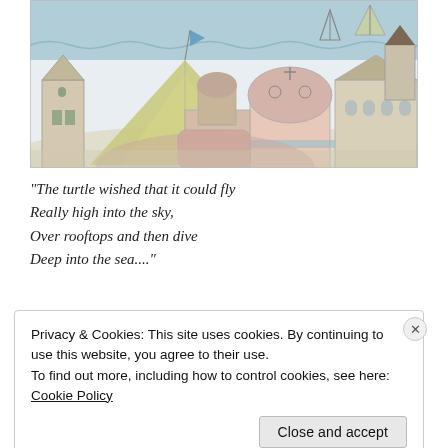[Figure (illustration): Colorful illustrated scene of a whimsical coastal town with tents, domed buildings, sailboats on water, and various architectural structures in a sketch/watercolor style.]
“The turtle wished that it could fly
Really high into the sky,
Over rooftops and then dive
Deep into the sea....”
Privacy & Cookies: This site uses cookies. By continuing to use this website, you agree to their use.
To find out more, including how to control cookies, see here: Cookie Policy